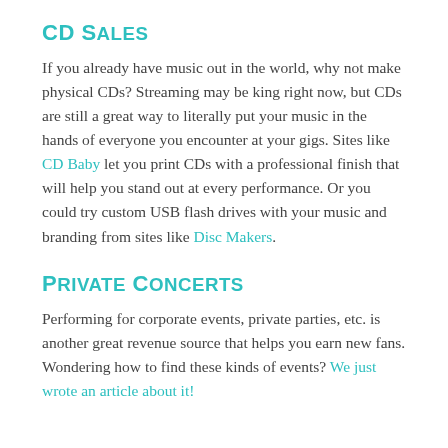CD Sales
If you already have music out in the world, why not make physical CDs? Streaming may be king right now, but CDs are still a great way to literally put your music in the hands of everyone you encounter at your gigs. Sites like CD Baby let you print CDs with a professional finish that will help you stand out at every performance. Or you could try custom USB flash drives with your music and branding from sites like Disc Makers.
Private Concerts
Performing for corporate events, private parties, etc. is another great revenue source that helps you earn new fans. Wondering how to find these kinds of events? We just wrote an article about it!